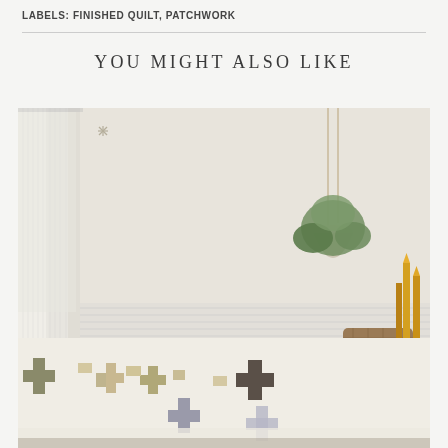LABELS: FINISHED QUILT, PATCHWORK
YOU MIGHT ALSO LIKE
[Figure (photo): A room scene showing a patchwork quilt with cross/plus sign patterns in muted earth tones (olive, taupe, grey, cream), displayed hanging or draped. Background shows white beadboard wainscoting and patterned wallpaper with small floral/star motifs. A hanging plant, wicker basket, and yellow taper candles are visible on the right side. White curtains hang on the left.]